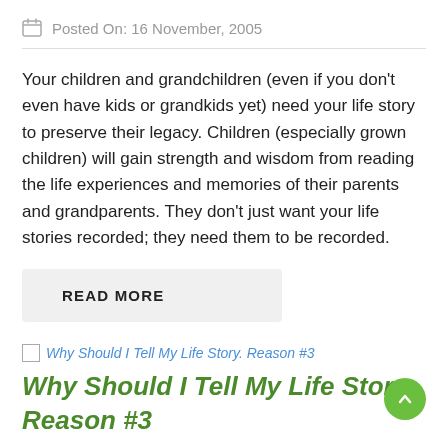Posted On: 16 November, 2005
Your children and grandchildren (even if you don't even have kids or grandkids yet) need your life story to preserve their legacy. Children (especially grown children) will gain strength and wisdom from reading the life experiences and memories of their parents and grandparents. They don't just want your life stories recorded; they need them to be recorded.
READ MORE
[Figure (other): Broken image placeholder for 'Why Should I Tell My Life Story. Reason #3']
Why Should I Tell My Life Story. Reason #3